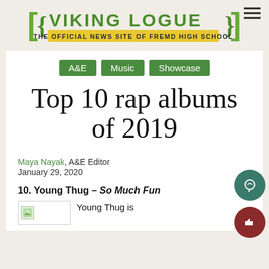VIKING LOGUE — THE OFFICIAL NEWS SITE OF FREMD HIGH SCHOOL
A&E | Music | Showcase
Top 10 rap albums of 2019
Maya Nayak, A&E Editor
January 29, 2020
10. Young Thug – So Much Fun
Young Thug is
[Figure (photo): Small image thumbnail placeholder for article]